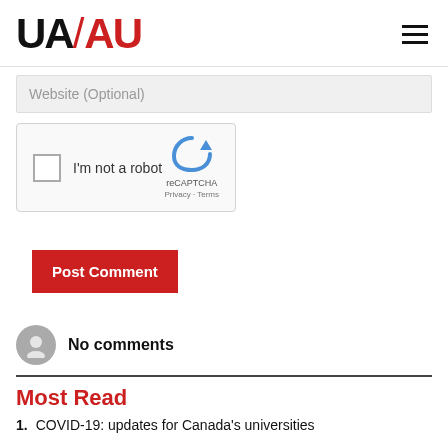[Figure (logo): UA/AU logo with black UA and red AU text, hamburger menu icon on right]
Website (Optional)
[Figure (screenshot): reCAPTCHA widget with checkbox, I'm not a robot label, reCAPTCHA logo, Privacy and Terms links]
Post Comment
No comments
Most Read
1.  COVID-19: updates for Canada's universities